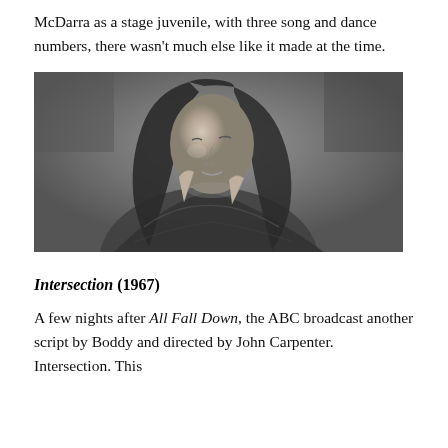McDarra as a stage juvenile, with three song and dance numbers, there wasn't much else like it made at the time.
[Figure (photo): Black and white photograph of a young woman with long curly hair, looking downward, wearing a floral or textured top.]
Intersection (1967)
A few nights after All Fall Down, the ABC broadcast another script by Boddy and directed by John Carpenter. Intersection. This